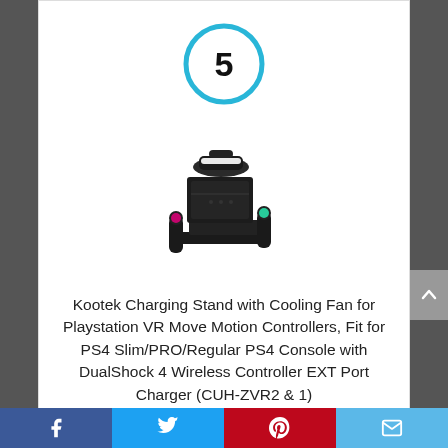[Figure (other): Blue circle with number 5 inside, used as a ranking badge]
[Figure (photo): Kootek Charging Stand with Cooling Fan product image, showing a black PS4 console stand with VR headset and motion controllers]
Kootek Charging Stand with Cooling Fan for Playstation VR Move Motion Controllers, Fit for PS4 Slim/PRO/Regular PS4 Console with DualShock 4 Wireless Controller EXT Port Charger (CUH-ZVR2 & 1)
By Kootek
Facebook | Twitter | Pinterest | Email